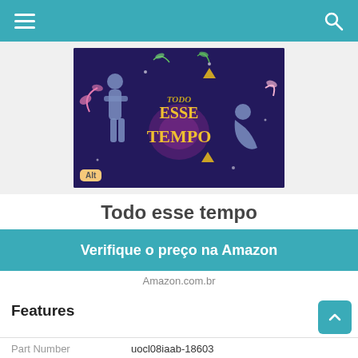≡   🔍
[Figure (illustration): Book cover for 'Todo esse tempo' showing two illustrated figures on a dark purple background with colorful floral elements and the title in yellow decorative text. An 'Alt' badge is in the lower left corner.]
Todo esse tempo
Verifique o preço na Amazon
Amazon.com.br
Features
| Feature | Value |
| --- | --- |
| Part Number | uocl08iaab-18603 |
| Color | Silver |
| Release Date | 2020-12-14T00:00:017 |